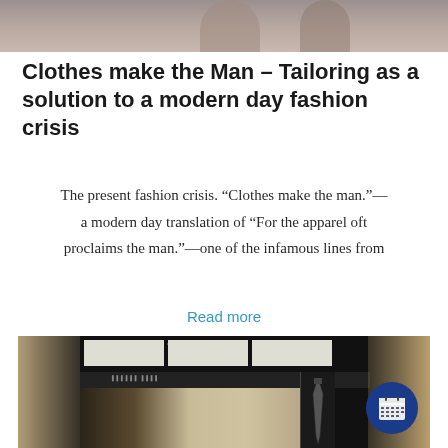[Figure (photo): Top portion of a person photo, cropped at top of page]
Clothes make the Man – Tailoring as a solution to a modern day fashion crisis
The present fashion crisis. “Clothes make the man.”—a modern day translation of “For the apparel oft proclaims the man.”—one of the infamous lines from
Read more
[Figure (photo): Interior of a men's fashion/tailoring store with dark decor, display cases, and a tie on display. A calendar icon badge appears in the bottom right corner.]